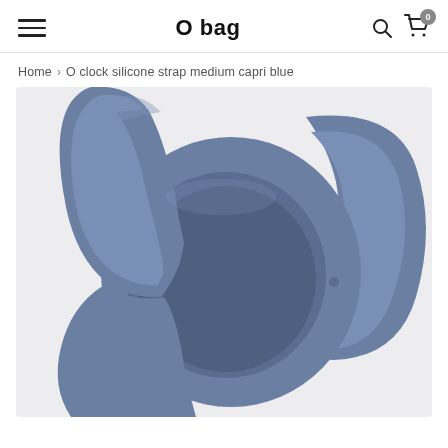O bag
Home > O clock silicone strap medium capri blue
[Figure (photo): Product photo of an O bag O clock silicone watch strap in medium size, capri blue color. The strap is a rounded square silicone watch band with a circular cutout for the watch face, shown at an angle on a light grey background.]